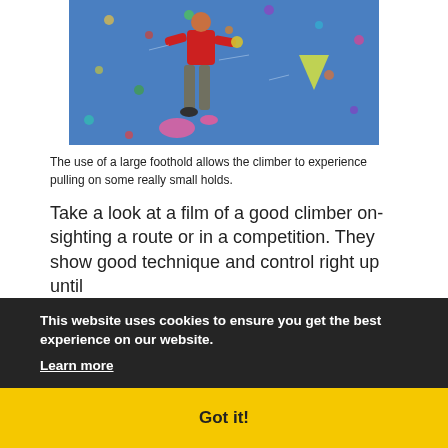[Figure (photo): Person in red shirt rock climbing on a blue indoor climbing wall with colorful holds]
The use of a large foothold allows the climber to experience pulling on some really small holds.
Take a look at a film of a good climber on-sighting a route or in a competition. They show good technique and control right up until
fallen. This is because their default technique is good technique and even at their limit they can perform without real thought and with automatic decision making. Mistakes are very rare. A
This website uses cookies to ensure you get the best experience on our website. Learn more
Got it!